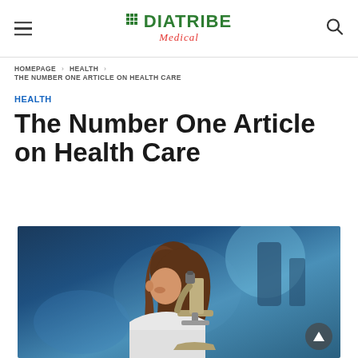DIATRIBE Medical
HOMEPAGE › HEALTH › THE NUMBER ONE ARTICLE ON HEALTH CARE
HEALTH
The Number One Article on Health Care
[Figure (photo): Young female scientist in white lab coat looking into a microscope in a blue-lit laboratory]